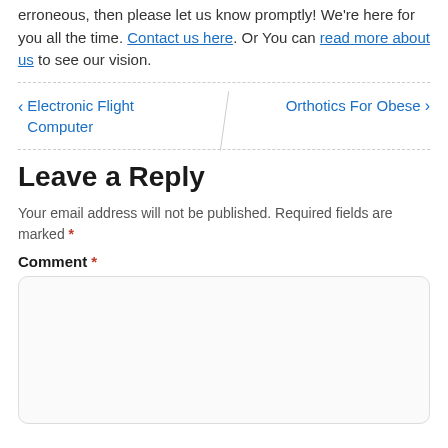erroneous, then please let us know promptly! We're here for you all the time. Contact us here. Or You can read more about us to see our vision.
< Electronic Flight Computer   Orthotics For Obese >
Leave a Reply
Your email address will not be published. Required fields are marked *
Comment *